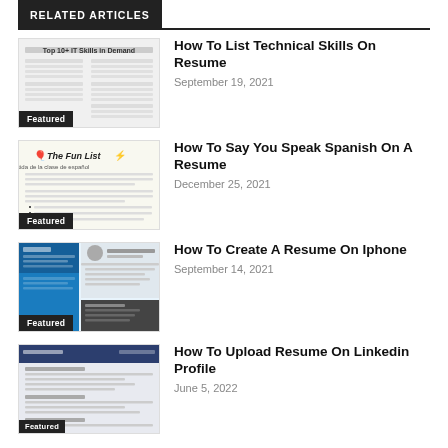RELATED ARTICLES
How To List Technical Skills On Resume
September 19, 2021
How To Say You Speak Spanish On A Resume
December 25, 2021
How To Create A Resume On Iphone
September 14, 2021
How To Upload Resume On Linkedin Profile
June 5, 2022